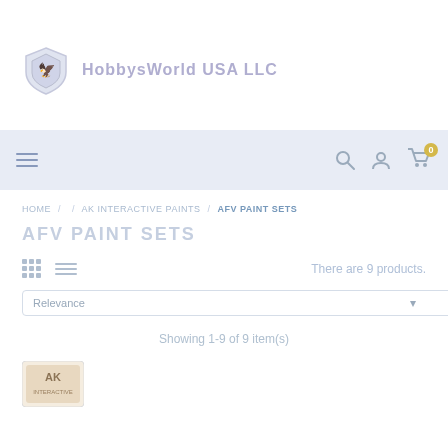[Figure (logo): HobbysWorld USA LLC logo with shield/crest image and text]
Navigation bar with hamburger menu, search, account, and cart icons
HOME / AK INTERACTIVE PAINTS / AFV PAINT SETS
AFV PAINT SETS
There are 9 products.
Relevance
Showing 1-9 of 9 item(s)
[Figure (logo): AK Interactive logo thumbnail at bottom of page]